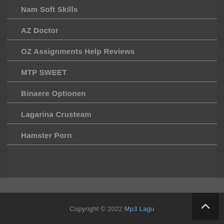Nam Soft Skills
AZ Doctor
OZ Assignments Help Reviews
MTP SWEET
Binaere Optionen
Lagarina Crusteam
Hamster Porn
Copyright © 2022 Mp3 Lagu